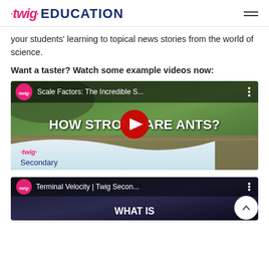twig EDUCATION
your students' learning to topical news stories from the world of science.
Want a taster? Watch some example videos now:
[Figure (screenshot): YouTube video thumbnail for 'Scale Factors: The Incredible S...' showing ants on a branch with text 'HOW STRONG ARE ANTS?' and twig Secondary branding. Red play button in center.]
[Figure (screenshot): YouTube video thumbnail for 'Terminal Velocity | Twig Secon...' partially visible at bottom of page.]